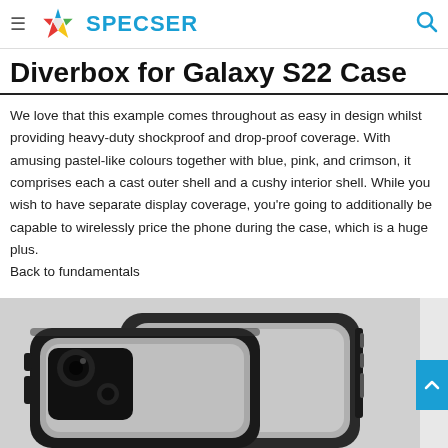SPECSER
Diverbox for Galaxy S22 Case
We love that this example comes throughout as easy in design whilst providing heavy-duty shockproof and drop-proof coverage. With amusing pastel-like colours together with blue, pink, and crimson, it comprises each a cast outer shell and a cushy interior shell. While you wish to have separate display coverage, you’re going to additionally be capable to wirelessly price the phone during the case, which is a huge plus. Back to fundamentals
[Figure (photo): Close-up photo of Diverbox Galaxy S22 phone cases stacked, showing black rugged protective cases with camera cutouts and side buttons]